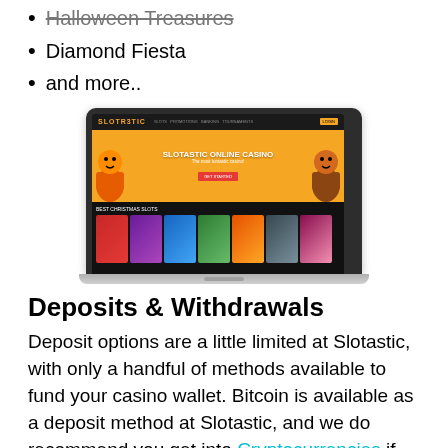Halloween Treasures
Diamond Fiesta
and more..
[Figure (screenshot): Screenshot of Slotastic Online Casino website shown on a MacBook laptop mockup. The site header shows the Slotastic logo in orange, navigation items, and orange buttons. The hero banner features a yellow/orange background with casino characters, 'SLOTASTIC ONLINE CASINO' title, 'The most funtastic casino!' subtitle, and a red GET STARTED button. Below is a 'BEST CHRISTMAS SLOTS' section showing a row of slot game thumbnails.]
Deposits & Withdrawals
Deposit options are a little limited at Slotastic, with only a handful of methods available to fund your casino wallet. Bitcoin is available as a deposit method at Slotastic, and we do recommend you get into Cryptocurrencies if you are an American player. Withdrawals are processed in a timely fashion, with most withdrawals being paid within 1-2